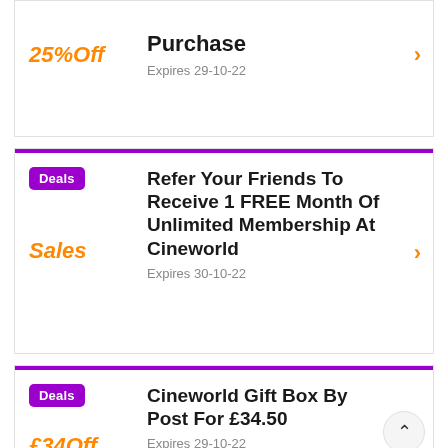25%Off — Purchase — Expires 29-10-22
Deals — Sales — Refer Your Friends To Receive 1 FREE Month Of Unlimited Membership At Cineworld — Expires 30-10-22
Deals — £34Off — Cineworld Gift Box By Post For £34.50 — Expires 29-10-22